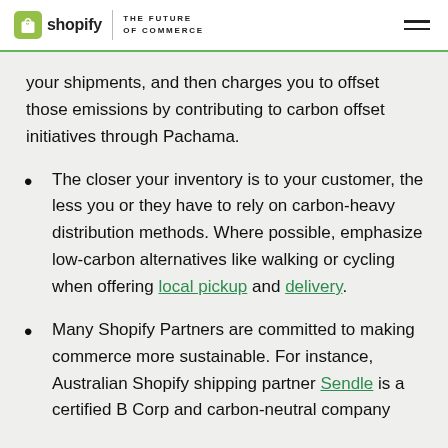shopify | THE FUTURE OF COMMERCE
your shipments, and then charges you to offset those emissions by contributing to carbon offset initiatives through Pachama.
The closer your inventory is to your customer, the less you or they have to rely on carbon-heavy distribution methods. Where possible, emphasize low-carbon alternatives like walking or cycling when offering local pickup and delivery.
Many Shopify Partners are committed to making commerce more sustainable. For instance, Australian Shopify shipping partner Sendle is a certified B Corp and carbon-neutral company